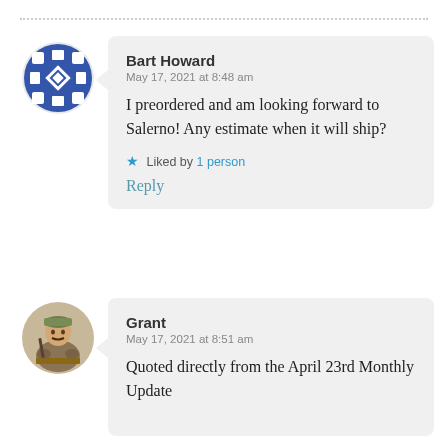[Figure (illustration): Blue and white geometric checkered avatar icon for user Bart Howard]
Bart Howard
May 17, 2021 at 8:48 am

I preordered and am looking forward to Salerno! Any estimate when it will ship?

★ Liked by 1 person

Reply
[Figure (illustration): Small illustrated avatar of a soldier/military figure at a table, for user Grant]
Grant
May 17, 2021 at 8:51 am

Quoted directly from the April 23rd Monthly Update